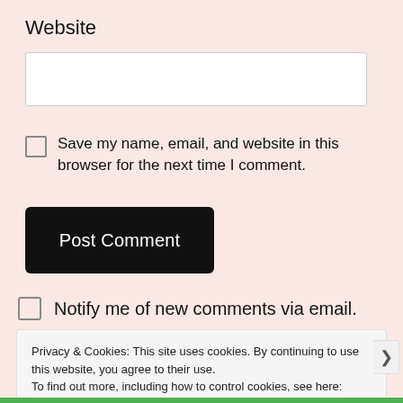Website
Save my name, email, and website in this browser for the next time I comment.
Post Comment
Notify me of new comments via email.
Privacy & Cookies: This site uses cookies. By continuing to use this website, you agree to their use.
To find out more, including how to control cookies, see here: Cookie Policy
Close and accept